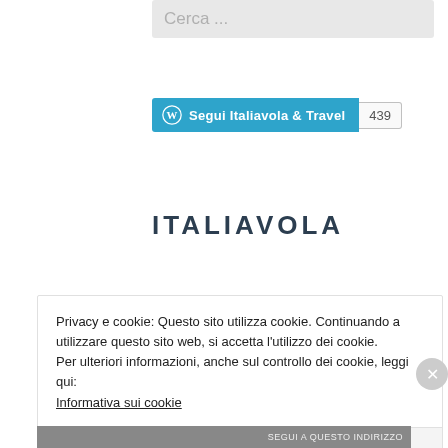Cerca ...
[Figure (other): WordPress follow button widget showing 'Segui Italiavola & Travel' with follower count 439]
ITALIAVOLA
Privacy e cookie: Questo sito utilizza cookie. Continuando a utilizzare questo sito web, si accetta l'utilizzo dei cookie.
Per ulteriori informazioni, anche sul controllo dei cookie, leggi qui:
Informativa sui cookie
Chiudi e accetta